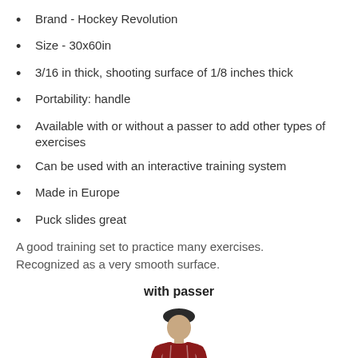Brand - Hockey Revolution
Size - 30x60in
3/16 in thick, shooting surface of 1/8 inches thick
Portability: handle
Available with or without a passer to add other types of exercises
Can be used with an interactive training system
Made in Europe
Puck slides great
A good training set to practice many exercises. Recognized as a very smooth surface.
with passer
[Figure (photo): A person wearing a winter hat and red patterned jacket, partially visible at the bottom of the page.]